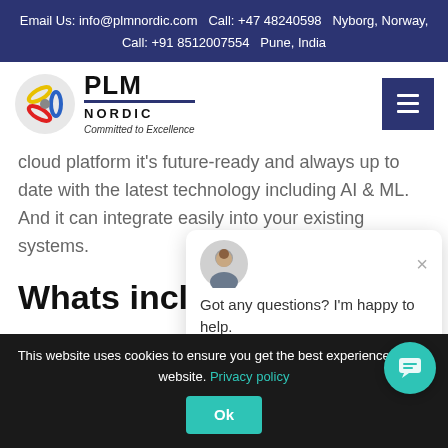Email Us: info@plmnordic.com   Call: +47 48240598   Nyborg, Norway,
Call: +91 8512007554   Pune, India
[Figure (logo): PLM Nordic logo — circular emblem with colored ribbons, text 'PLM NORDIC' with tagline 'Committed to Excellence']
cloud platform it's future-ready and always up to date with the latest technology including AI & ML. And it can integrate easily into your existing systems.
Whats inclu
[Figure (screenshot): Chat popup widget showing avatar photo with message 'Got any questions? I'm happy to help.' and a close (x) button]
This website uses cookies to ensure you get the best experience on our website. Privacy policy
Ok